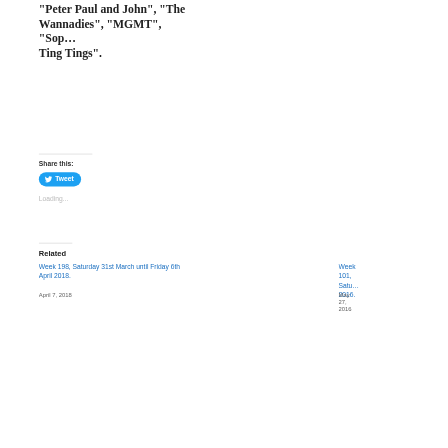“Peter Paul and John”, “The Wannadies”, “MGMT”, “Sop... Ting Tings”.
Share this:
[Figure (other): Twitter Tweet button — blue rounded rectangle with bird icon and text 'Tweet']
Loading...
Related
Week 198, Saturday 31st March until Friday 6th April 2018.
April 7, 2018
Week 101, Satu... 2016.
May 27, 2016